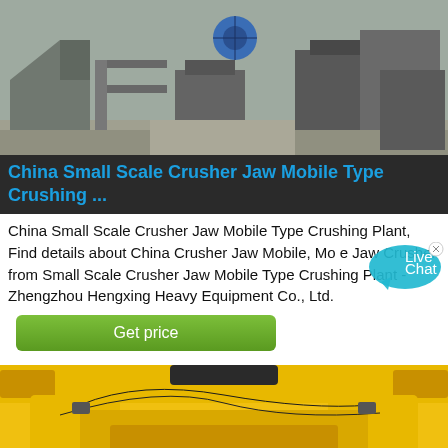[Figure (photo): Industrial crusher/processing facility interior with machinery, conveyor equipment, and concrete floor in a grey steel building.]
China Small Scale Crusher Jaw Mobile Type Crushing ...
China Small Scale Crusher Jaw Mobile Type Crushing Plant, Find details about China Crusher Jaw Mobile, Jaw Crusher from Small Scale Crusher Jaw Mobile Type Crushing Plant - Zhengzhou Hengxing Heavy Equipment Co., Ltd.
[Figure (other): Live Chat bubble icon overlay in blue-green color with 'Live Chat' text and X close button.]
Get price
[Figure (photo): Close-up of yellow industrial crushing equipment with black hydraulic hoses and warning labels.]